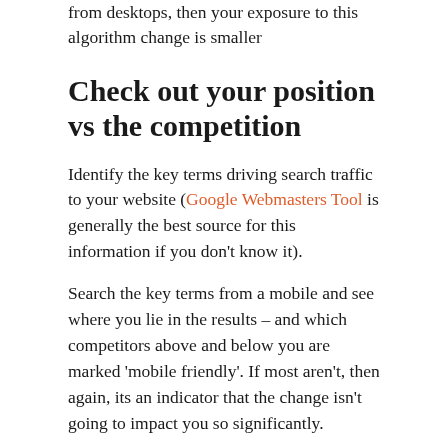from desktops, then your exposure to this algorithm change is smaller
Check out your position vs the competition
Identify the key terms driving search traffic to your website (Google Webmasters Tool is generally the best source for this information if you don't know it).
Search the key terms from a mobile and see where you lie in the results – and which competitors above and below you are marked 'mobile friendly'. If most aren't, then again, its an indicator that the change isn't going to impact you so significantly.
If, after doing this research, you're still concerned about the potential impact of the change, then it's